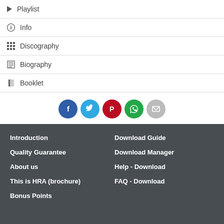▶ Playlist
ℹ Info
⊞ Discography
📋 Biography
📕 Booklet
[Figure (infographic): Row of 5 social media share buttons: Facebook (dark blue), Twitter (light blue), Pinterest (red), WhatsApp (green), Email (gray)]
Introduction
Quality Guarantee
About us
This is HRA (brochure)
Bonus Points
Download Guide
Download Manager
Help - Download
FAQ - Download